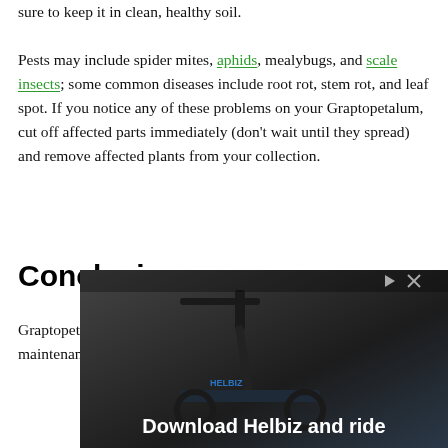sure to keep it in clean, healthy soil.
Pests may include spider mites, aphids, mealybugs, and scale insects; some common diseases include root rot, stem rot, and leaf spot. If you notice any of these problems on your Graptopetalum, cut off affected parts immediately (don't wait until they spread) and remove affected plants from your collection.
Conclusion
Graptopetalum glassii plants are carefree plants that require little maintenance. They only need to be watered about once...
[Figure (photo): Advertisement banner showing an electric scooter with text 'Download Helbiz and ride' and close/ad icons in the top right corner.]